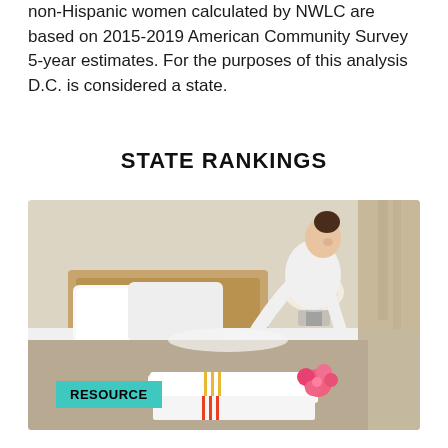non-Hispanic women calculated by NWLC are based on 2015-2019 American Community Survey 5-year estimates. For the purposes of this analysis D.C. is considered a state.
STATE RANKINGS
[Figure (photo): A woman in a white uniform making a hotel bed, with folded white towels in the foreground, one adorned with a pink flower. A teal banner at the bottom left reads RESOURCE.]